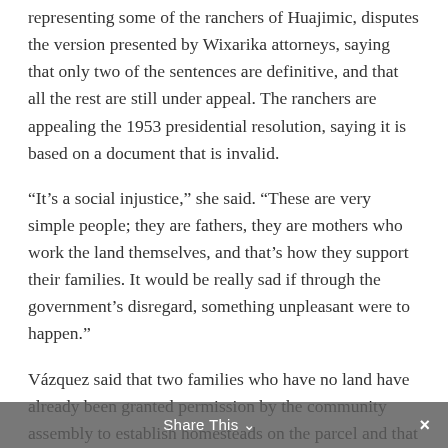representing some of the ranchers of Huajimic, disputes the version presented by Wixarika attorneys, saying that only two of the sentences are definitive, and that all the rest are still under appeal. The ranchers are appealing the 1953 presidential resolution, saying it is based on a document that is invalid.
“It’s a social injustice,” she said. “These are very simple people; they are fathers, they are mothers who work the land themselves, and that’s how they support their families. It would be really sad if through the government’s disregard, something unpleasant were to happen.”
Vázquez said that two families who have no land have already been granted permission by the community assembly to establish homesteads on the parcel and that the assembly plans to send a rotating contingent of community residents to stand guard for several months—“as long as it’s necessary so that the
Share This ⌄  ×